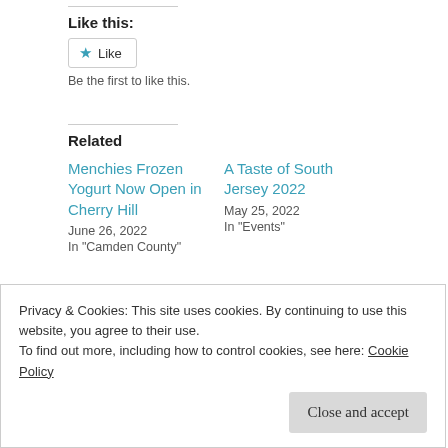Like this:
Like
Be the first to like this.
Related
Menchies Frozen Yogurt Now Open in Cherry Hill
June 26, 2022
In "Camden County"
A Taste of South Jersey 2022
May 25, 2022
In "Events"
Privacy & Cookies: This site uses cookies. By continuing to use this website, you agree to their use.
To find out more, including how to control cookies, see here: Cookie Policy
Close and accept